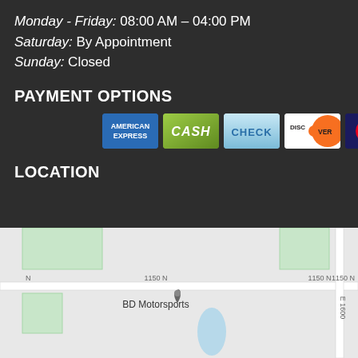Monday - Friday: 08:00 AM – 04:00 PM
Saturday: By Appointment
Sunday: Closed
PAYMENT OPTIONS
[Figure (infographic): Payment method icons: American Express, Cash, Check, Discover, MasterCard, Visa]
LOCATION
[Figure (map): Google map showing BD Motorsports location on 1150 N road near E 1600 intersection]